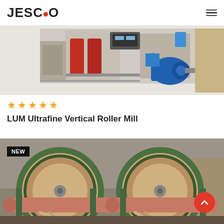JESCO
[Figure (photo): Top portion of a LUM Ultrafine Vertical Roller Mill industrial machine with blue motor, red rollers, and metal framework on a light background]
★★★★★
LUM Ultrafine Vertical Roller Mill
[Figure (photo): Industrial ball mill or rotary drum equipment photographed outdoors, showing large cylindrical drums with green framework, pipes and mechanical components, with a NEW badge label in the top left corner]